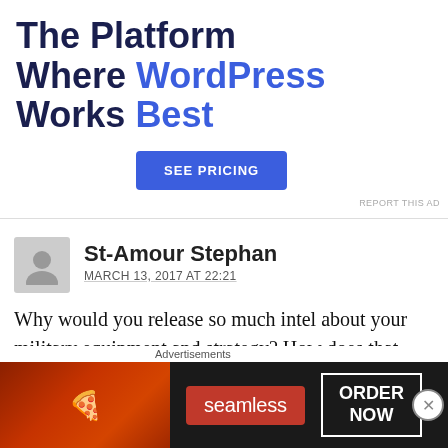[Figure (infographic): Web hosting advertisement: 'The Platform Where WordPress Works Best' with a blue 'SEE PRICING' button and 'REPORT THIS AD' text]
REPORT THIS AD
St-Amour Stephan
MARCH 13, 2017 AT 22:21
Why would you release so much intel about your military equipment and strategy? How does that help? Please correct me if I'm wrong but I don't
Advertisements
[Figure (infographic): Seamless food delivery advertisement with pizza image, Seamless logo, and ORDER NOW button]